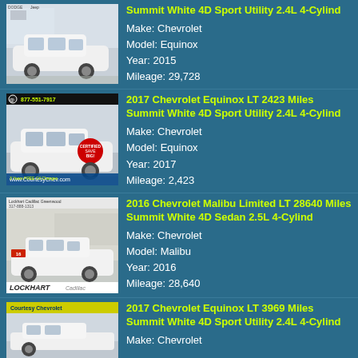[Figure (photo): White Chevrolet Equinox SUV at a dealership lot with Dodge/Jeep signs visible]
Summit White 4D Sport Utility 2.4L 4-Cylind
Make: Chevrolet
Model: Equinox
Year: 2015
Mileage: 29,728
[Figure (photo): White Chevrolet Equinox at Courtesy Chevrolet dealership, phone number 877-551-7917 visible, red Save Big sticker]
2017 Chevrolet Equinox LT 2423 Miles Summit White 4D Sport Utility 2.4L 4-Cylind
Make: Chevrolet
Model: Equinox
Year: 2017
Mileage: 2,423
[Figure (photo): White Chevrolet Malibu sedan at Lockhart Cadillac Greenwood dealership]
2016 Chevrolet Malibu Limited LT 28640 Miles Summit White 4D Sedan 2.5L 4-Cylind
Make: Chevrolet
Model: Malibu
Year: 2016
Mileage: 28,640
[Figure (photo): White Chevrolet Equinox at Courtesy Chevrolet dealership]
2017 Chevrolet Equinox LT 3969 Miles Summit White 4D Sport Utility 2.4L 4-Cylind
Make: Chevrolet